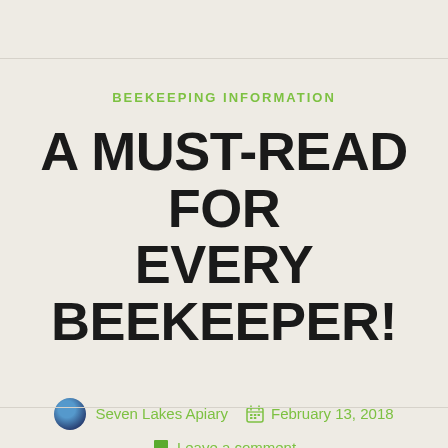BEEKEEPING INFORMATION
A MUST-READ FOR EVERY BEEKEEPER!
Seven Lakes Apiary   February 13, 2018   Leave a comment